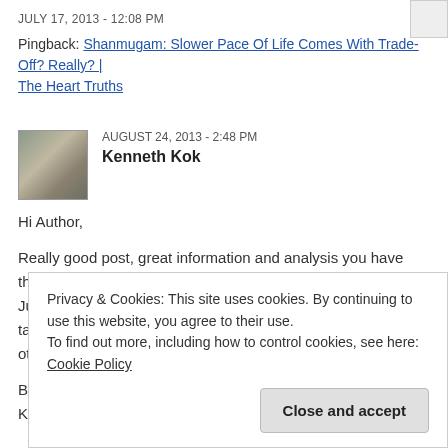JULY 17, 2013 - 12:08 PM
Pingback: Shanmugam: Slower Pace Of Life Comes With Trade-Off? Really? | The Heart Truths
AUGUST 24, 2013 - 2:48 PM
Kenneth Kok
Hi Author,

Really good post, great information and analysis you have there! (:
Just curious, did you take into account the social security and taxes that other countries pay (in % of their income) vs Singapore? (:

Best Regards,
Kenneth
Privacy & Cookies: This site uses cookies. By continuing to use this website, you agree to their use.
To find out more, including how to control cookies, see here: Cookie Policy
Close and accept